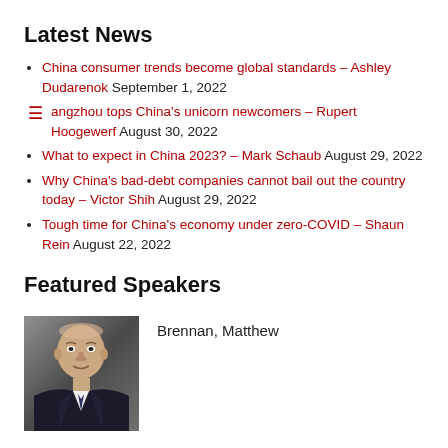Latest News
China consumer trends become global standards – Ashley Dudarenok September 1, 2022
angzhou tops China's unicorn newcomers – Rupert Hoogewerf August 30, 2022
What to expect in China 2023? – Mark Schaub August 29, 2022
Why China's bad-debt companies cannot bail out the country today – Victor Shih August 29, 2022
Tough time for China's economy under zero-COVID – Shaun Rein August 22, 2022
Featured Speakers
Brennan, Matthew
[Figure (photo): Headshot photo of Matthew Brennan, a bald man in a dark suit]